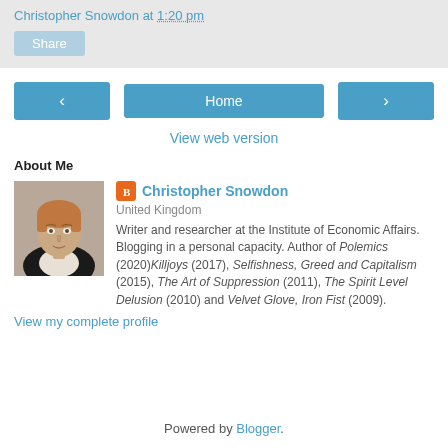Christopher Snowdon at 1:20 pm
Share
< Home >
View web version
About Me
Christopher Snowdon
United Kingdom
Writer and researcher at the Institute of Economic Affairs. Blogging in a personal capacity. Author of Polemics (2020)Killjoys (2017), Selfishness, Greed and Capitalism (2015), The Art of Suppression (2011), The Spirit Level Delusion (2010) and Velvet Glove, Iron Fist (2009).
View my complete profile
Powered by Blogger.